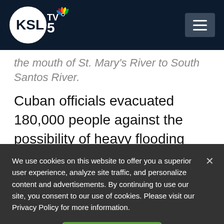KSL TV5 NBC - navigation header with logo and menu button
the mouth of St. Mary's River to South Santos River.
Cuban officials evacuated 180,000 people against the possibility of heavy flooding from a storm that already battered several
We use cookies on this website to offer you a superior user experience, analyze site traffic, and personalize content and advertisements. By continuing to use our site, you consent to our use of cookies. Please visit our Privacy Policy for more information.
Accept Cookies